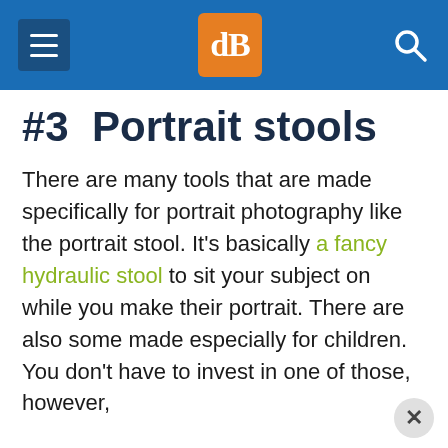dPS [logo] [hamburger menu] [search icon]
#3  Portrait stools
There are many tools that are made specifically for portrait photography like the portrait stool. It's basically a fancy hydraulic stool to sit your subject on while you make their portrait. There are also some made especially for children. You don't have to invest in one of those, however,